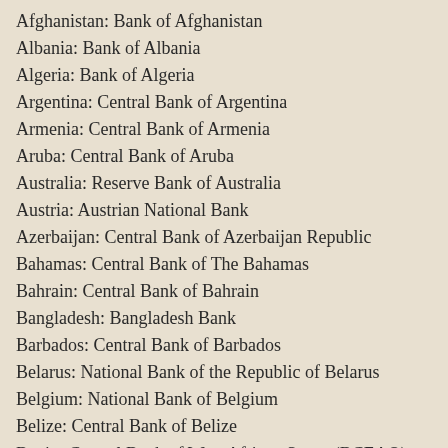Afghanistan: Bank of Afghanistan
Albania: Bank of Albania
Algeria: Bank of Algeria
Argentina: Central Bank of Argentina
Armenia: Central Bank of Armenia
Aruba: Central Bank of Aruba
Australia: Reserve Bank of Australia
Austria: Austrian National Bank
Azerbaijan: Central Bank of Azerbaijan Republic
Bahamas: Central Bank of The Bahamas
Bahrain: Central Bank of Bahrain
Bangladesh: Bangladesh Bank
Barbados: Central Bank of Barbados
Belarus: National Bank of the Republic of Belarus
Belgium: National Bank of Belgium
Belize: Central Bank of Belize
Benin: Central Bank of West African States (BCEAO)
Bermuda: Bermuda Monetary Authority
Bhutan: Royal Monetary Authority of Bhutan
Bolivia: Central Bank of Bolivia
Bosnia: Central Bank of Bosnia and Herzegovina
Botswana: Bank of Botswana